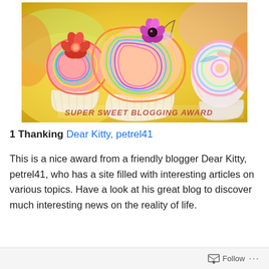[Figure (photo): Colorful swirled frosting cupcakes with flower decorations and a fairy figurine. Red flower on the largest cupcake, pink/purple flower on the middle cupcake. Rainbow-colored frosting swirls. Text overlay reads 'SUPER SWEET BLOGGING AWARD' in decorative letters at the bottom of the image.]
1 Thanking Dear Kitty, petrel41
This is a nice award from a friendly blogger Dear Kitty, petrel41, who has a site filled with interesting articles on various topics. Have a look at his great blog to discover much interesting news on the reality of life.
Follow ...